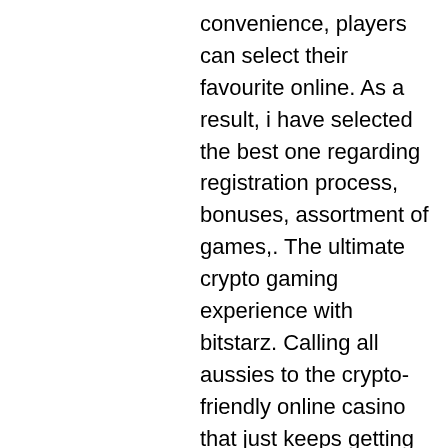convenience, players can select their favourite online. As a result, i have selected the best one regarding registration process, bonuses, assortment of games,. The ultimate crypto gaming experience with bitstarz. Calling all aussies to the crypto-friendly online casino that just keeps getting better. The massive assortment of over 850 games is great for experimenting and switching up your gambling experience,. This casino is recognized as one of the best in the industry, providing a large list of games and promotions, as well as easy navigation systems to browse. Today, bitstarz stands out as one of the best cryptocurrency casinos on the internet. It is a reputation that has been carefully nurtured. It also offers more than 2,000 different high quality games, but it doesn't offer a sportsbook function (where you could bet on various popular sporting events. You can find live feedback from relations you and giving